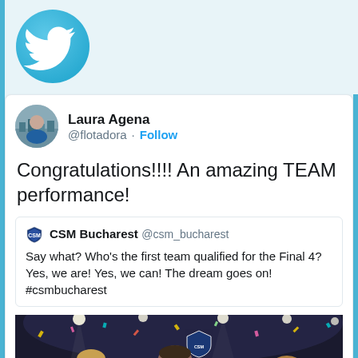[Figure (logo): Twitter bird logo icon in blue circle, partially visible at top]
Laura Agena
@flotadora · Follow
Congratulations!!!! An amazing TEAM performance!
CSM Bucharest @csm_bucharest
Say what? Who's the first team qualified for the Final 4? Yes, we are! Yes, we can! The dream goes on! #csmbucharest
[Figure (photo): Sports photo of female handball players in blue uniforms celebrating, hugging each other in an arena with confetti]